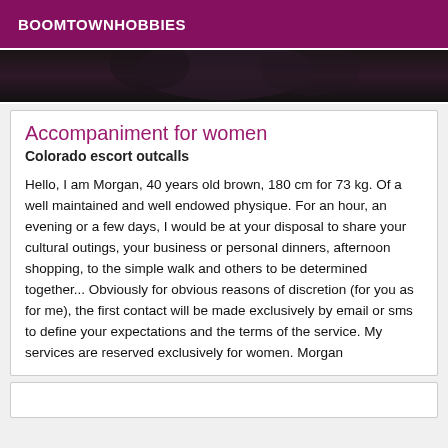BOOMTOWNHOBBIES
[Figure (photo): Dark background photo strip showing a partial silhouette]
Accompaniment for women
Colorado escort outcalls
Hello, I am Morgan, 40 years old brown, 180 cm for 73 kg. Of a well maintained and well endowed physique. For an hour, an evening or a few days, I would be at your disposal to share your cultural outings, your business or personal dinners, afternoon shopping, to the simple walk and others to be determined together... Obviously for obvious reasons of discretion (for you as for me), the first contact will be made exclusively by email or sms to define your expectations and the terms of the service. My services are reserved exclusively for women. Morgan